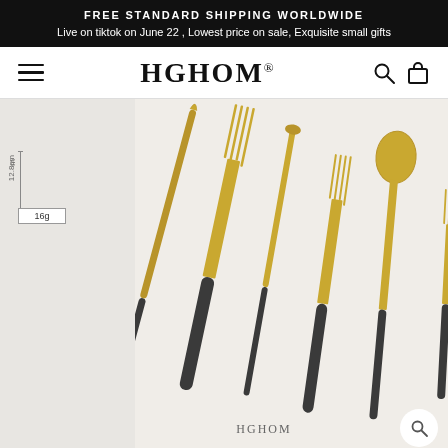FREE STANDARD SHIPPING WORLDWIDE
Live on tiktok on June 22 , Lowest price on sale, Exquisite small gifts
HGHOM
[Figure (photo): Seven pieces of gold and dark-handled cutlery (flatware) arranged on a cream/beige background: two dinner forks, a dinner knife, a butter knife, a salad fork, a tablespoon, a teaspoon fork, and a teaspoon. The handles are dark gray/black and the heads are gold-toned. A dimension diagram on the left shows 12.8cm length and 16g weight.]
HGHOM